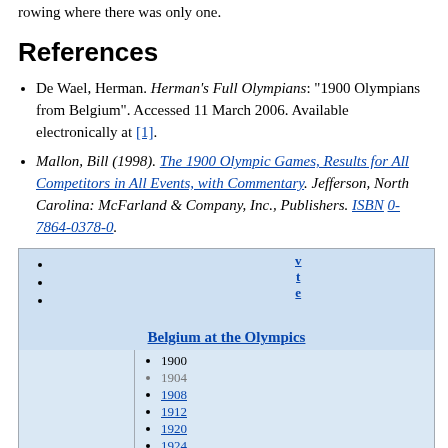rowing where there was only one.
References
De Wael, Herman. Herman's Full Olympians: "1900 Olympians from Belgium". Accessed 11 March 2006. Available electronically at [1].
Mallon, Bill (1998). The 1900 Olympic Games, Results for All Competitors in All Events, with Commentary. Jefferson, North Carolina: McFarland & Company, Inc., Publishers. ISBN 0-7864-0378-0.
[Figure (other): Wikipedia navigation box for Belgium at the Olympics, showing links v, t, e and list of Olympic years: 1900, 1904, 1908, 1912, 1920, 1924, 1928, 1932]